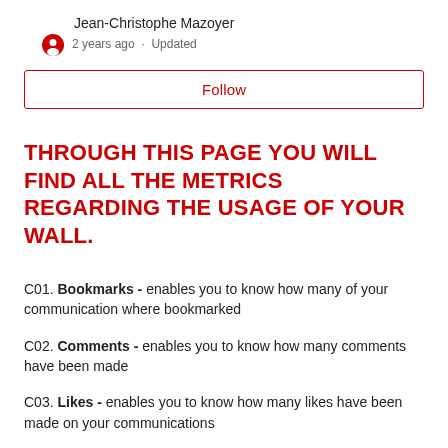Jean-Christophe Mazoyer
2 years ago · Updated
Follow
THROUGH THIS PAGE YOU WILL FIND ALL THE METRICS REGARDING THE USAGE OF YOUR WALL.
C01. Bookmarks - enables you to know how many of your communication where bookmarked
C02. Comments - enables you to know how many comments have been made
C03. Likes - enables you to know how many likes have been made on your communications